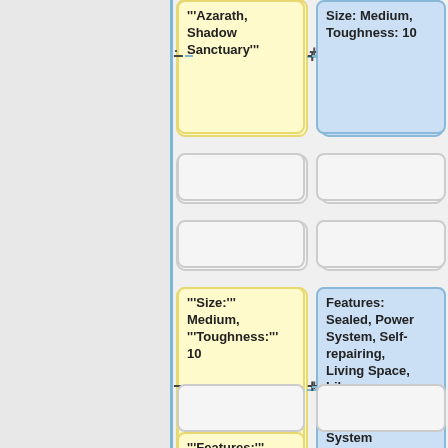[Figure (flowchart): Flowchart/comparison layout showing two columns of nodes connected by plus and minus connectors. Left column (yellow background) shows: '''Azarath, Shadow Sanctuary''', empty nodes, '''Size:''' Medium, '''Toughness:''' 10, empty node, '''Features:''' Sealed, Power System, Self-repairing, Living Space... Right column (blue background) shows: Size: Medium, Toughness: 10, empty nodes, Features: Sealed, Power System, Self-repairing, Living Space, Library, Communications, Security System, empty node. Connected by horizontal lines with minus (−) and plus (+) symbols.]